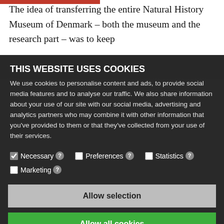The idea of transferring the entire Natural History Museum of Denmark – both the museum and the research part – was to keep
[Figure (screenshot): Cookie consent modal overlay on a webpage. Title: 'THIS WEBSITE USES COOKIES'. Body text about personalising content and sharing data with partners. Checkboxes for Necessary (checked), Preferences, Statistics, Marketing. Buttons: 'Allow selection' (grey) and 'Allow all cookies' (green).]
Too many bad things have happened for us to just go back and start again.
— Professor Jakob Winther, Biology